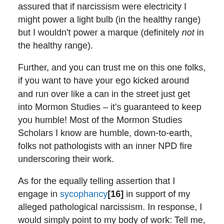assured that if narcissism were electricity I might power a light bulb (in the healthy range) but I wouldn't power a marque (definitely not in the healthy range).
Further, and you can trust me on this one folks, if you want to have your ego kicked around and run over like a can in the street just get into Mormon Studies – it's guaranteed to keep you humble!  Most of the Mormon Studies Scholars I know are humble, down-to-earth, folks not pathologists with an inner NPD fire underscoring their work.
As for the equally telling assertion that I engage in sycophancy[16] in support of my alleged pathological narcissism.  In response, I would simply point to my body of work: Tell me, does a sycophant compile a body of work that agitates, provokes, and challenges the status quo? Rather, my mentors have consistently encouraged me to